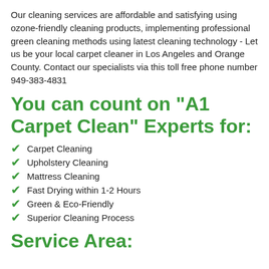Our cleaning services are affordable and satisfying using ozone-friendly cleaning products, implementing professional green cleaning methods using latest cleaning technology - Let us be your local carpet cleaner in Los Angeles and Orange County. Contact our specialists via this toll free phone number 949-383-4831
You can count on "A1 Carpet Clean" Experts for:
Carpet Cleaning
Upholstery Cleaning
Mattress Cleaning
Fast Drying within 1-2 Hours
Green & Eco-Friendly
Superior Cleaning Process
Service Area: